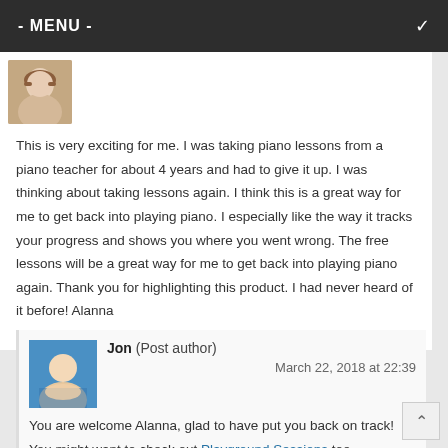- MENU -
[Figure (photo): Avatar photo of a woman with light brown hair]
This is very exciting for me. I was taking piano lessons from a piano teacher for about 4 years and had to give it up. I was thinking about taking lessons again. I think this is a great way for me to get back into playing piano. I especially like the way it tracks your progress and shows you where you went wrong. The free lessons will be a great way for me to get back into playing piano again. Thank you for highlighting this product. I had never heard of it before! Alanna
Reply ↓
[Figure (photo): Avatar photo of Jon in a swimming pool]
Jon (Post author)
March 22, 2018 at 22:39
You are welcome Alanna, glad to have put you back on track!  You might want to check out Playground Sessions too.